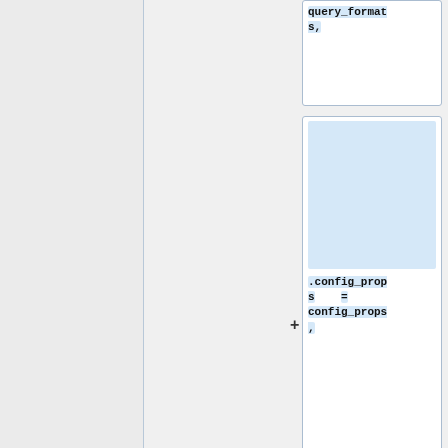query_formats,
.config_props = config_props,
.min_perms = AV_PERM_READ, },